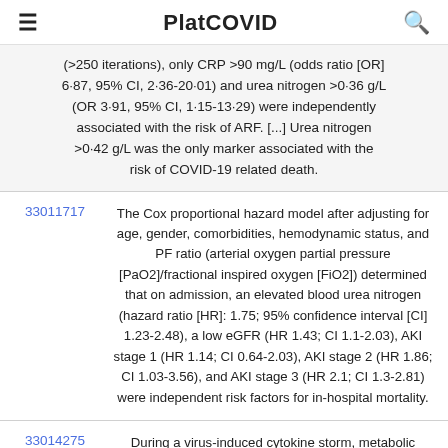PlatCOVID
(>250 iterations), only CRP >90 mg/L (odds ratio [OR] 6·87, 95% CI, 2·36-20·01) and urea nitrogen >0·36 g/L (OR 3·91, 95% CI, 1·15-13·29) were independently associated with the risk of ARF. [...] Urea nitrogen >0·42 g/L was the only marker associated with the risk of COVID-19 related death.
33011717 — The Cox proportional hazard model after adjusting for age, gender, comorbidities, hemodynamic status, and PF ratio (arterial oxygen partial pressure [PaO2]/fractional inspired oxygen [FiO2]) determined that on admission, an elevated blood urea nitrogen (hazard ratio [HR]: 1.75; 95% confidence interval [CI] 1.23-2.48), a low eGFR (HR 1.43; CI 1.1-2.03), AKI stage 1 (HR 1.14; CI 0.64-2.03), AKI stage 2 (HR 1.86; CI 1.03-3.56), and AKI stage 3 (HR 2.1; CI 1.3-2.81) were independent risk factors for in-hospital mortality.
33014275 — During a virus-induced cytokine storm, metabolic flexibility is compromised due to increased levels of